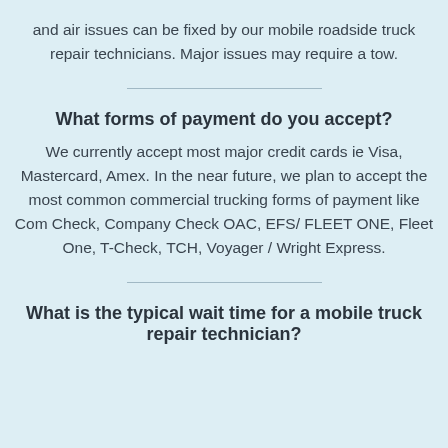and air issues can be fixed by our mobile roadside truck repair technicians. Major issues may require a tow.
What forms of payment do you accept?
We currently accept most major credit cards ie Visa, Mastercard, Amex. In the near future, we plan to accept the most common commercial trucking forms of payment like Com Check, Company Check OAC, EFS/ FLEET ONE, Fleet One, T-Check, TCH, Voyager / Wright Express.
What is the typical wait time for a mobile truck repair technician?